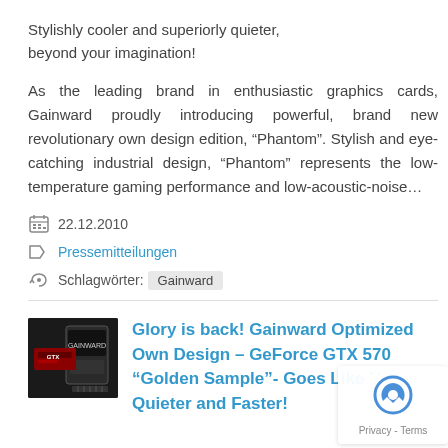Stylishly cooler and superiorly quieter, beyond your imagination!
As the leading brand in enthusiastic graphics cards, Gainward proudly introducing powerful, brand new revolutionary own design edition, “Phantom”. Stylish and eye-catching industrial design, “Phantom” represents the low-temperature gaming performance and low-acoustic-noise…
22.12.2010
Pressemitteilungen
Schlagwörter: Gainward
[Figure (photo): Gainward graphics card product box thumbnail]
Glory is back! Gainward Optimized Own Design – GeForce GTX 570 “Golden Sample”- Goes Like He… Quieter and Faster!